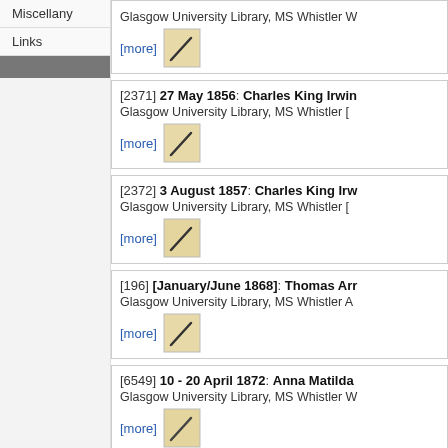Miscellany
Links
[more] Glasgow University Library, MS Whistler W
[2371] 27 May 1856: Charles King Irwin — Glasgow University Library, MS Whistler [more]
[2372] 3 August 1857: Charles King Irw — Glasgow University Library, MS Whistler [more]
[196] [January/June 1868]: Thomas Arr — Glasgow University Library, MS Whistler A [more]
[6549] 10 - 20 April 1872: Anna Matilda — Glasgow University Library, MS Whistler W [more]
[6551] 7 May [1872]: Anna Matilda Whis — Glasgow University Library, MS Whistler W [more]